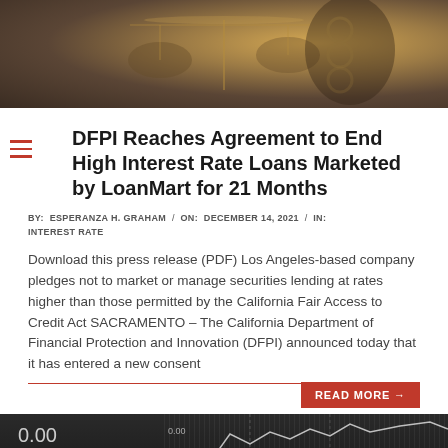[Figure (photo): Close-up photo of Lady Justice scales, golden chains visible against a dark background, warm brown and golden tones]
DFPI Reaches Agreement to End High Interest Rate Loans Marketed by LoanMart for 21 Months
BY: ESPERANZA H. GRAHAM / ON: DECEMBER 14, 2021 / IN: INTEREST RATE
Download this press release (PDF) Los Angeles-based company pledges not to market or manage securities lending at rates higher than those permitted by the California Fair Access to Credit Act SACRAMENTO – The California Department of Financial Protection and Innovation (DFPI) announced today that it has entered a new consent
READ MORE →
[Figure (photo): Grayscale close-up photo of a stock market screen showing numbers including 0.00 and -15.50, with a line chart overlay in white]